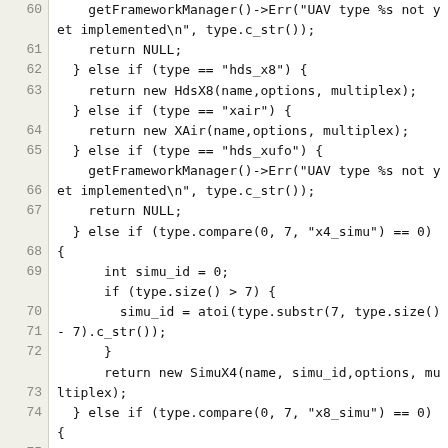Source code listing lines 60-75 showing UAV factory method implementation in C++
60: getFrameworkManager()->Err("UAV type %s not yet implemented\n", type.c_str()); 61: return NULL; 62: } else if (type == "hds_x8") { 63: return new HdsX8(name,options,multiplex); 64: } else if (type == "xair") { 65: return new XAir(name,options,multiplex); 66: } else if (type == "hds_xufo") { 67: getFrameworkManager()->Err("UAV type %s not yet implemented\n", type.c_str()); 68: return NULL; 69: } else if (type.compare(0, 7, "x4_simu") == 0) { 70: int simu_id = 0; 71: if (type.size() > 7) { 72: simu_id = atoi(type.substr(7, type.size() - 7).c_str()); 73: } 74: return new SimuX4(name, simu_id,options, multiplex); 75: } else if (type.compare(0, 7, "x8_simu") == 0) {